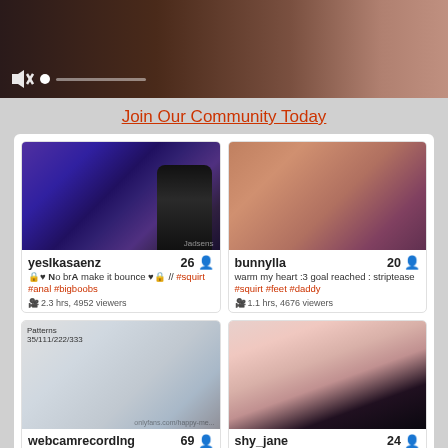[Figure (screenshot): Video player banner with dark reddish-brown gradient background, mute icon and progress bar controls at bottom left]
Join Our Community Today
[Figure (screenshot): Live stream thumbnail showing gaming chair in purple-lit room]
yesIkasaenz 26
🔒♥ No brA make it bounce ♥🔒 // #squirt #anal #bigboobs
2.3 hrs, 4952 viewers
[Figure (screenshot): Live stream thumbnail showing blonde woman in purple-lit room]
bunnylla 20
warm my heart :3 goal reached : striptease #squirt #feet #daddy
1.1 hrs, 4676 viewers
[Figure (screenshot): Live stream thumbnail showing blonde woman in office setting with white shirt]
webcamrecording 69
[Figure (screenshot): Live stream thumbnail showing woman in dark top close-up]
shy_jane 24